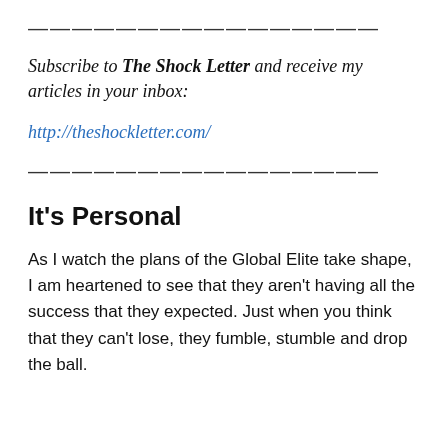————————————————
Subscribe to The Shock Letter and receive my articles in your inbox:
http://theshockletter.com/
————————————————
It's Personal
As I watch the plans of the Global Elite take shape, I am heartened to see that they aren't having all the success that they expected. Just when you think that they can't lose, they fumble, stumble and drop the ball.